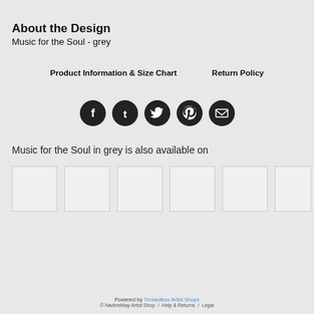About the Design
Music for the Soul - grey
Product Information & Size Chart    Return Policy
[Figure (infographic): Row of 5 social media icons (Facebook, Tumblr, Twitter, Pinterest, Email) as white icons on dark circular backgrounds]
Music for the Soul in grey is also available on
[Figure (other): Row of 6 product thumbnail placeholder images (white/light grey rectangles)]
Powered by Threadless Artist Shops
© NadineMay Artist Shop / Help & Returns / Legal